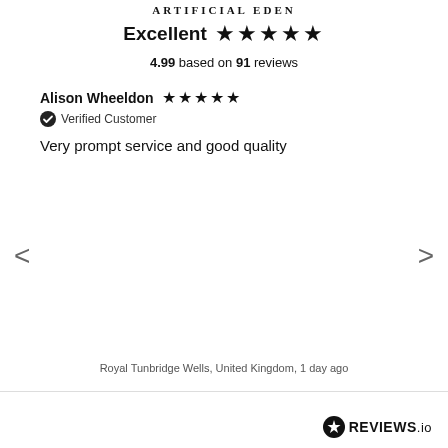ARTIFICIAL EDEN
Excellent ★★★★★
4.99 based on 91 reviews
Alison Wheeldon ★★★★★
✔ Verified Customer
Very prompt service and good quality
Royal Tunbridge Wells, United Kingdom, 1 day ago
[Figure (logo): REVIEWS.io logo with star badge icon]